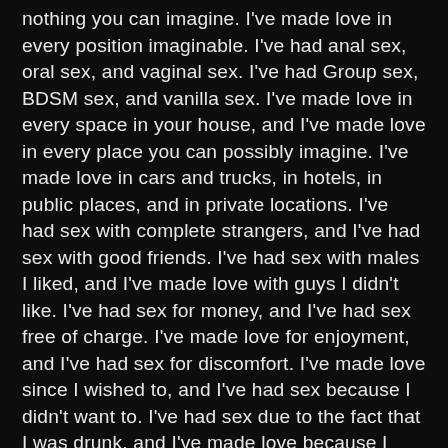nothing you can imagine. I've made love in every position imaginable. I've had anal sex, oral sex, and vaginal sex. I've had Group sex, BDSM sex, and vanilla sex. I've made love in every space in your house, and I've made love in every place you can possibly imagine. I've made love in cars and trucks, in hotels, in public places, and in private locations. I've had sex with complete strangers, and I've had sex with good friends. I've had sex with males I liked, and I've made love with guys I didn't like. I've had sex for money, and I've had sex free of charge. I've made love for enjoyment, and I've had sex for discomfort. I've made love since I wished to, and I've had sex because I didn't want to. I've had sex due to the fact that I was drunk, and I've made love because I was sober. I've had sex because I was high, and I've made love since I was low. I've had sex because it was fun, and I've made love because it wasn't fun. I've had sex due to the fact that it felt excellent, and I've made love because it felt bad. I've had sex since I was curious, and I've had sex because I wasn't curious. I've had sex because